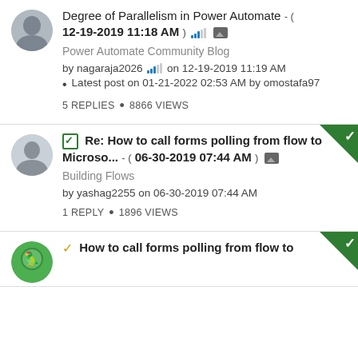Degree of Parallelism in Power Automate - ( 12-19-2019 11:18 AM ) Power Automate Community Blog by nagaraja2026 on 12-19-2019 11:19 AM • Latest post on 01-21-2022 02:53 AM by omostafa97 5 REPLIES • 8866 VIEWS
Re: How to call forms polling from flow to Microso... - ( 06-30-2019 07:44 AM ) Building Flows by yashag2255 on 06-30-2019 07:44 AM 1 REPLY • 1896 VIEWS
How to call forms polling from flow to